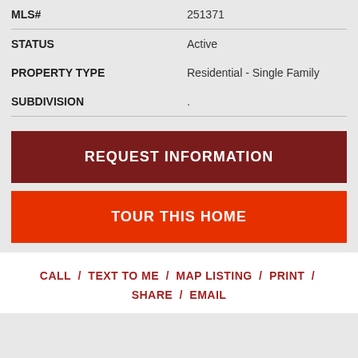| Field | Value |
| --- | --- |
| MLS# | 251371 |
| STATUS | Active |
| PROPERTY TYPE | Residential - Single Family |
| SUBDIVISION | . |
REQUEST INFORMATION
TOUR THIS HOME
CALL / TEXT TO ME / MAP LISTING / PRINT / SHARE / EMAIL